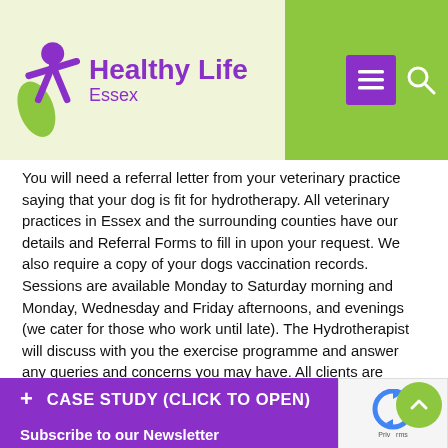Healthy Life Essex
You will need a referral letter from your veterinary practice saying that your dog is fit for hydrotherapy. All veterinary practices in Essex and the surrounding counties have our details and Referral Forms to fill in upon your request. We also require a copy of your dogs vaccination records. Sessions are available Monday to Saturday morning and Monday, Wednesday and Friday afternoons, and evenings (we cater for those who work until late). The Hydrotherapist will discuss with you the exercise programme and answer any queries and concerns you may have. All clients are treated as individual cases and a complete rehabilitation programme is worked out by our qualified hydrotherapist.
CASE STUDY (CLICK TO OPEN)
Subscribe to our Newsletter